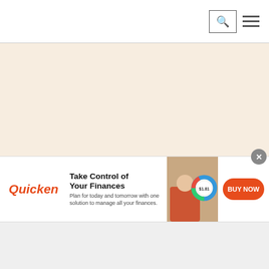3 players in the men's Team of the Year - can we be hopeful?
Aniruddha Bhowmik  2022-01-20 20:41:27
The International Cricket Council (ICC) has
[Figure (other): Advertisement banner for Quicken showing logo, headline 'Take Control of Your Finances', subtext 'Plan for today and tomorrow with one solution to manage all your finances.', a photo of a woman at a laptop, a donut chart, and a red BUY NOW button. Close button (X) in top right.]